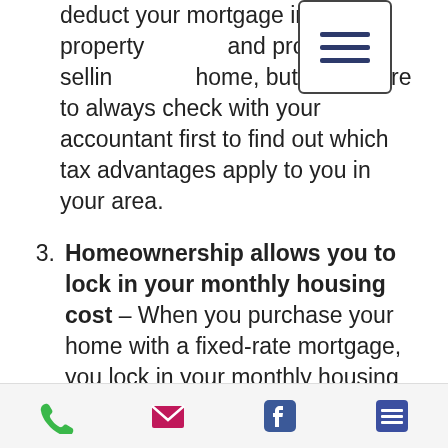deduct your mortgage interest, property and profits from selling home, but make sure to always check with your accountant first to find out which tax advantages apply to you in your area.
[Figure (other): Hamburger menu icon — three horizontal lines in a rounded rectangle border]
3. Homeownership allows you to lock in your monthly housing cost – When you purchase your home with a fixed-rate mortgage, you lock in your monthly housing cost for the next 5, 15, or 30 years. Interest rates have remained around 4% all year, marking some of the lowest rates in
Phone | Email | Facebook | List